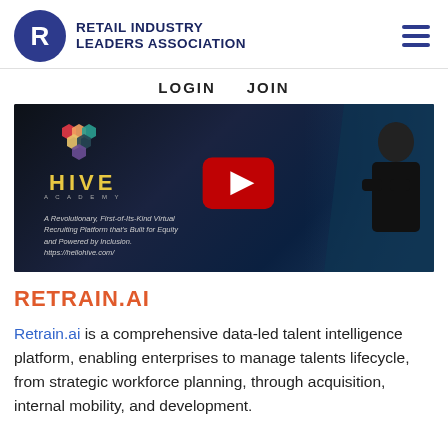[Figure (logo): Retail Industry Leaders Association logo with circular R emblem and organization name]
LOGIN   JOIN
[Figure (screenshot): HIVE Academy video thumbnail with YouTube play button, text: A Revolutionary, First-of-Its-Kind Virtual Recruiting Platform that's Built for Equity and Powered by Inclusion. https://hellohive.com/]
RETRAIN.AI
Retrain.ai is a comprehensive data-led talent intelligence platform, enabling enterprises to manage talents lifecycle, from strategic workforce planning, through acquisition, internal mobility, and development.